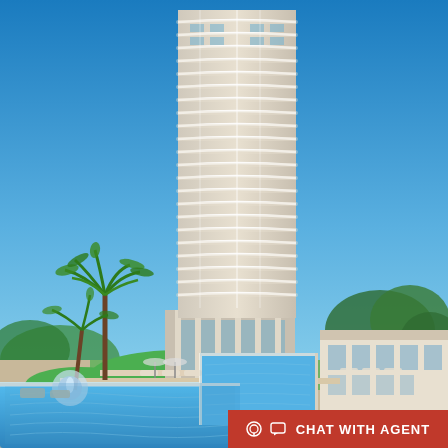[Figure (photo): Aerial or elevated perspective rendering of a tall luxury residential high-rise tower with curved white balconies, surrounded by lush landscaping, palm trees, a large blue swimming pool in the foreground, lounge chairs, and a low-rise amenity building to the right. Blue sky background.]
CHAT WITH AGENT